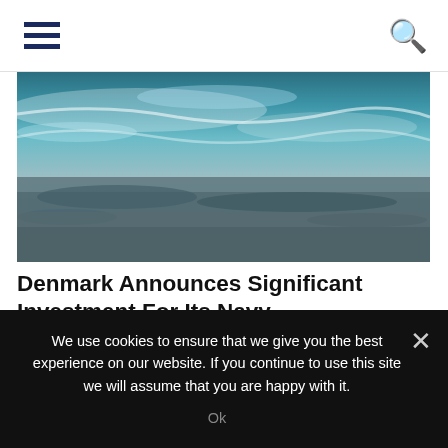[Figure (photo): Ocean waves photo — dark blue-green ocean waves with white foam, viewed from above or side angle, moody and dramatic seascape]
Denmark Announces Significant Investment For Its Navy
Naval News Staff  19 Aug 2022
The Danish Ministry of Defense (MoD) announced on 18 August a plan to invest up to 40 billion DKK ($5.5 billion USD) to
We use cookies to ensure that we give you the best experience on our website. If you continue to use this site we will assume that you are happy with it.